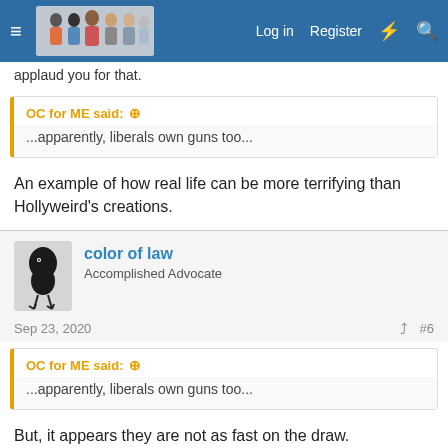Log in  Register
applaud you for that.
OC for ME said: ↑
...apparently, liberals own guns too...
An example of how real life can be more terrifying than Hollyweird's creations.
[Figure (other): Forum user avatar showing a dark bird/crow figure]
color of law
Accomplished Advocate
Sep 23, 2020   #6
OC for ME said: ↑
...apparently, liberals own guns too...
But, it appears they are not as fast on the draw.